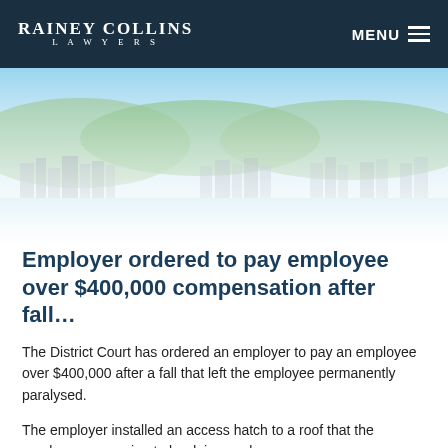RAINEY COLLINS LAWYERS  MENU
[Figure (photo): Aerial/harbour panoramic view of Wellington, New Zealand cityscape with blue sky, hills, and waterfront buildings.]
Employer ordered to pay employee over $400,000 compensation after fall…
The District Court has ordered an employer to pay an employee over $400,000 after a fall that left the employee permanently paralysed.
The employer installed an access hatch to a roof that the employee was going to be doing work on.